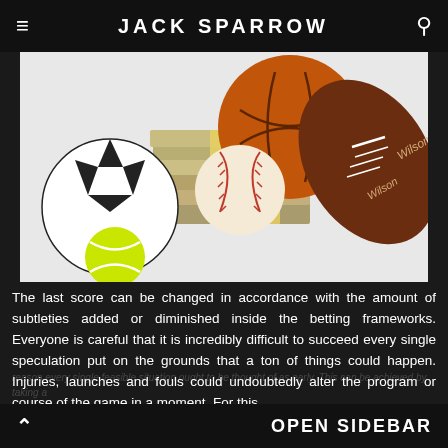≡   JACK SPARROW   🔍
[Figure (photo): Sports balls (soccer ball, basketball, baseball, football, tennis ball) arranged around stacks of bundled US dollar bills on a white background.]
The last score can be changed in accordance with the amount of subtleties added or diminished inside the betting frameworks. Everyone is careful that it is incredibly difficult to succeed every single speculation put on the grounds that a ton of things could happen. Injuries, launches and fouls could undoubtedly alter the program or course of the game in a moment. For this
^   OPEN SIDEBAR